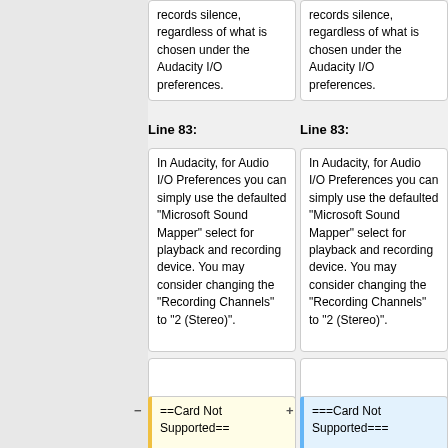records silence, regardless of what is chosen under the Audacity I/O preferences.
records silence, regardless of what is chosen under the Audacity I/O preferences.
Line 83:
Line 83:
In Audacity, for Audio I/O Preferences you can simply use the defaulted "Microsoft Sound Mapper" select for playback and recording device. You may consider changing the "Recording Channels" to "2 (Stereo)".
In Audacity, for Audio I/O Preferences you can simply use the defaulted "Microsoft Sound Mapper" select for playback and recording device. You may consider changing the "Recording Channels" to "2 (Stereo)".
==Card Not Supported==
===Card Not Supported===